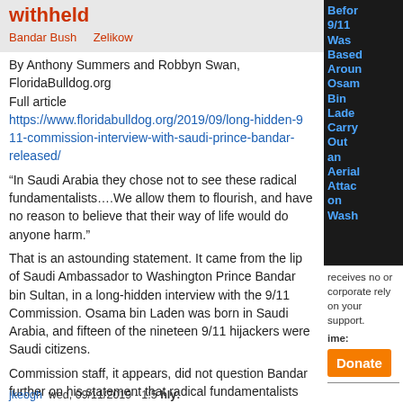withheld
Bandar Bush    Zelikow
By Anthony Summers and Robbyn Swan, FloridaBulldog.org
Full article
https://www.floridabulldog.org/2019/09/long-hidden-911-commission-interview-with-saudi-prince-bandar-released/
“In Saudi Arabia they chose not to see these radical fundamentalists….We allow them to flourish, and have no reason to believe that their way of life would do anyone harm.”
That is an astounding statement. It came from the lips of Saudi Ambassador to Washington Prince Bandar bin Sultan, in a long-hidden interview with the 9/11 Commission. Osama bin Laden was born in Saudi Arabia, and fifteen of the nineteen 9/11 hijackers were Saudi citizens.
Commission staff, it appears, did not question Bandar further on his statement that radical fundamentalists would not do anyone any harm.
1 comment    Read more
receives no or corporate rely on your support.
ime:
Donate
jkeogh  wed, 09/11/2019 - 1:5   hly:
Befor 9/11 Was Based Aroun Osam Bin Lade Carry Out an Aerial Attac on Wash